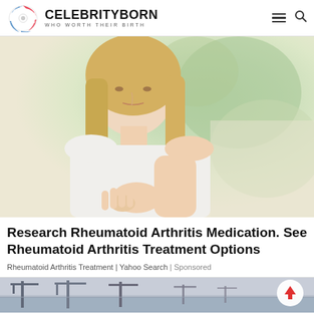CELEBRITYBORN — WHO WORTH THEIR BIRTH
[Figure (photo): Young blonde woman in white top looking down at her wrist/hand, suggesting wrist pain or arthritis, with blurred green background]
Research Rheumatoid Arthritis Medication. See Rheumatoid Arthritis Treatment Options
Rheumatoid Arthritis Treatment | Yahoo Search | Sponsored
[Figure (photo): Partial view of a port/harbor with cranes against a grey sky, partially visible at the bottom of the page]